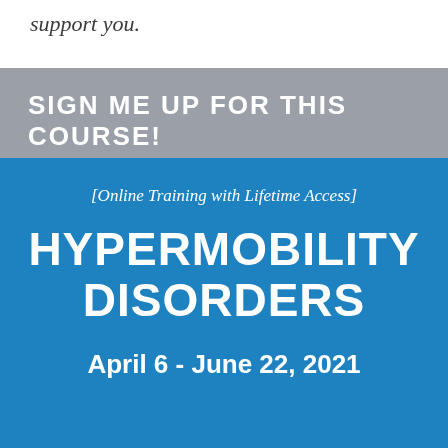support you.
SIGN ME UP FOR THIS COURSE!
[Online Training with Lifetime Access]
HYPERMOBILITY DISORDERS
April 6 - June 22, 2021